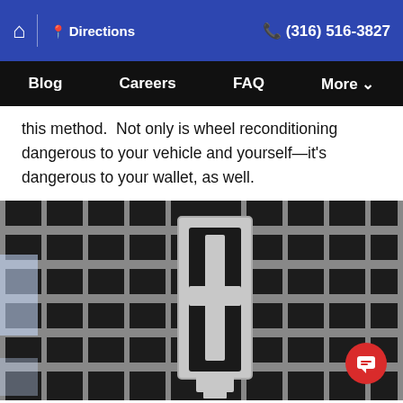Home | Directions | (316) 516-3827
Blog | Careers | FAQ | More
this method.  Not only is wheel reconditioning dangerous to your vehicle and yourself—it's dangerous to your wallet, as well.
[Figure (photo): Close-up photo of a chrome car grille with a Lincoln star emblem in the center, showing a dark grid pattern with chrome trim]